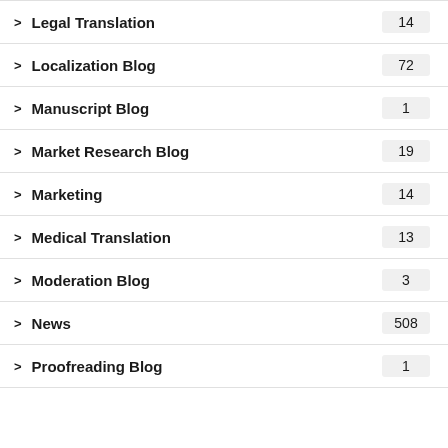> Legal Translation 14
> Localization Blog 72
> Manuscript Blog 1
> Market Research Blog 19
> Marketing 14
> Medical Translation 13
> Moderation Blog 3
> News 508
> Proofreading Blog 1